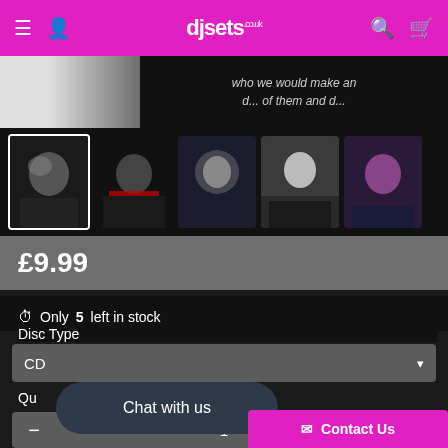djsets.co.uk
[Figure (photo): Top banner showing a light background on left and handwritten text on right reading 'who we would make an d... d... of them and d...']
[Figure (photo): Thumbnail strip with 5 DJ/performer photos, first one selected with white border]
£9.99
Only 5 left in stock
Disc Type
CD
Chat with us
1
Contact Us